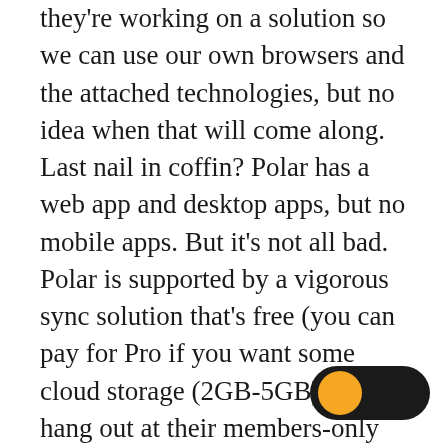they're working on a solution so we can use our own browsers and the attached technologies, but no idea when that will come along. Last nail in coffin? Polar has a web app and desktop apps, but no mobile apps. But it's not all bad. Polar is supported by a vigorous sync solution that's free (you can pay for Pro if you want some cloud storage (2GB-5GB) and hang out at their members-only lounge). The desktop apps are just great when it comes to actual use and reading. The problem? Their design is that you click on an article in their list and it opens a special view where you read and bookmark/take notes in a sidebar. This view doesn't open in the mobile version of their sites, specially on the iPad, which is where it would be super useful. Instead of that, they do weird stuff like syncing flashcards to Anki. I guess the dev was a student at [toggle]. Also, pricey if you go for premium ($5-$8
[Figure (other): A toggle switch UI element with a black track and orange/yellow circular thumb on the left side]